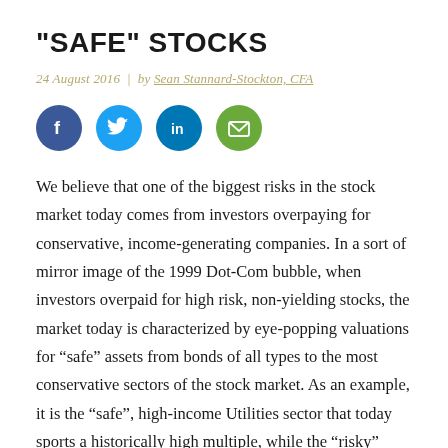"SAFE" STOCKS
24 August 2016 | by Sean Stannard-Stockton, CFA
[Figure (infographic): Social media share icons: Facebook (dark blue circle), Twitter (light blue circle), LinkedIn (blue circle), Email (green circle)]
We believe that one of the biggest risks in the stock market today comes from investors overpaying for conservative, income-generating companies. In a sort of mirror image of the 1999 Dot-Com bubble, when investors overpaid for high risk, non-yielding stocks, the market today is characterized by eye-popping valuations for “safe” assets from bonds of all types to the most conservative sectors of the stock market. As an example, it is the “safe”, high-income Utilities sector that today sports a historically high multiple, while the “risky” Technology sector has an earnings multiple below its long-term average.